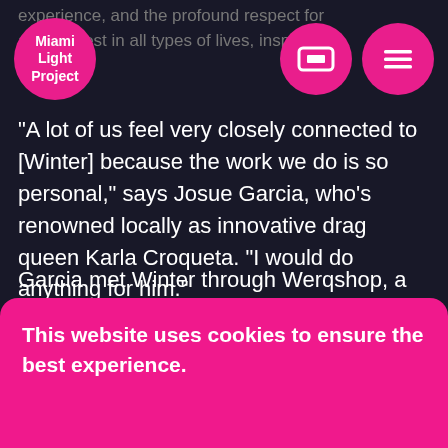experience, and the profound respect for and interest in all types of lives, inspires
[Figure (logo): Miami Light Project logo — pink circle with white text]
[Figure (other): Pink circle icon with ticket/box symbol]
[Figure (other): Pink circle icon with hamburger menu lines]
“A lot of us feel very closely connected to [Winter] because the work we do is so personal,” says Josue Garcia, who’s renowned locally as innovative drag queen Karla Croqueta. “I would do anything for him.”
Garcia met Winter through Werqshop, a program Winter created which now queen
This website uses cookies to ensure the best experience.